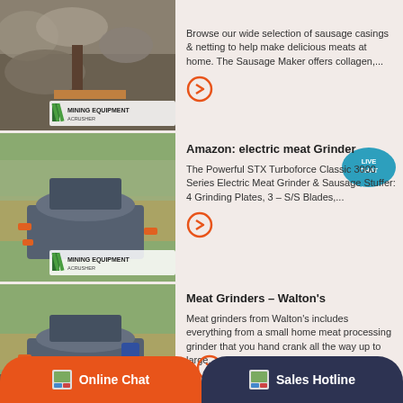[Figure (photo): Mining equipment crusher with rocky terrain and MINING EQUIPMENT ACRUSHER watermark - top image]
Browse our wide selection of sausage casings & netting to help make delicious meats at home. The Sausage Maker offers collagen,...
[Figure (photo): Mining equipment crusher machine - MINING EQUIPMENT ACRUSHER watermark - middle image]
Amazon: electric meat Grinder
The Powerful STX Turboforce Classic 3000 Series Electric Meat Grinder & Sausage Stuffer: 4 Grinding Plates, 3 – S/S Blades,...
[Figure (photo): Mining equipment crusher machine - MINING EQUIPMENT ACRUSHER watermark - bottom image]
Meat Grinders – Walton's
Meat grinders from Walton's includes everything from a small home meat processing grinder that you hand crank all the way up to large...
Online Chat
Sales Hotline